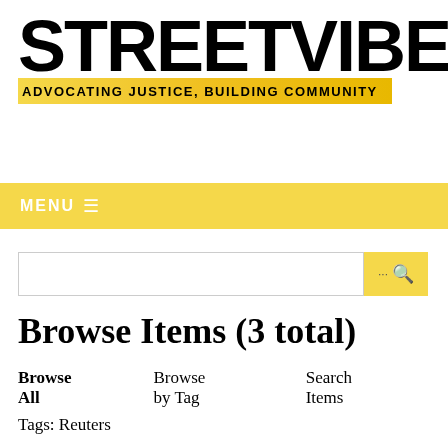[Figure (logo): StreetVibes! logo with bold black text and yellow tagline banner reading 'ADVOCATING JUSTICE, BUILDING COMMUNITY' with a graphic illustration of a person's face and exclamation mark]
MENU
[Figure (screenshot): Search bar with text input field and yellow search button with magnifying glass icon]
Browse Items (3 total)
Browse All   Browse by Tag   Search Items
Tags: Reuters